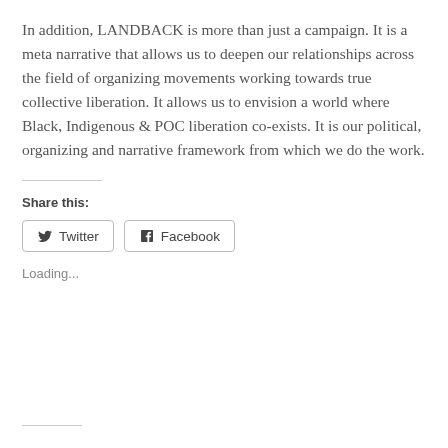In addition, LANDBACK is more than just a campaign. It is a meta narrative that allows us to deepen our relationships across the field of organizing movements working towards true collective liberation. It allows us to envision a world where Black, Indigenous & POC liberation co-exists. It is our political, organizing and narrative framework from which we do the work.
Share this:
Twitter
Facebook
Loading...